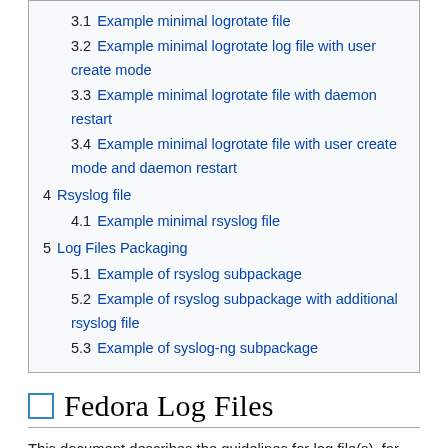3.1 Example minimal logrotate file
3.2 Example minimal logrotate log file with user create mode
3.3 Example minimal logrotate file with daemon restart
3.4 Example minimal logrotate file with user create mode and daemon restart
4 Rsyslog file
4.1 Example minimal rsyslog file
5 Log Files Packaging
5.1 Example of rsyslog subpackage
5.2 Example of rsyslog subpackage with additional rsyslog file
5.3 Example of syslog-ng subpackage
Fedora Log Files
This document describes the guidelines for log file(s), for use and inclusion in Fedora packages.
For the purposes of these guidelines, a log file is defined as an text file that an application outputs into in the /var/log/